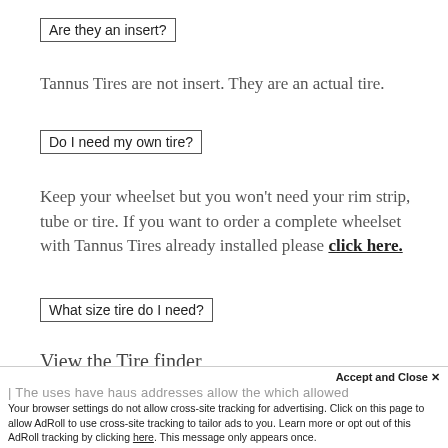Are they an insert?
Tannus Tires are not insert. They are an actual tire.
Do I need my own tire?
Keep your wheelset but you won't need your rim strip, tube or tire. If you want to order a complete wheelset with Tannus Tires already installed please click here.
What size tire do I need?
View the Tire finder
Accept and Close ×
Your browser settings do not allow cross-site tracking for advertising. Click on this page to allow AdRoll to use cross-site tracking to tailor ads to you. Learn more or opt out of this AdRoll tracking by clicking here. This message only appears once.